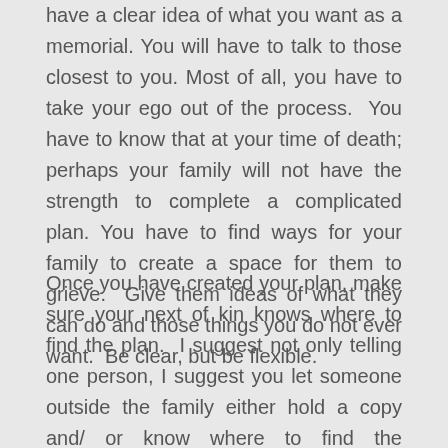have a clear idea of what you want as a memorial. You will have to talk to those closest to you. Most of all, you have to take your ego out of the process. You have to know that at your time of death; perhaps your family will not have the strength to complete a complicated plan. You have to find ways for your family to create a space for them to grieve. Give them ideas of what they can do and those things you do not ever want. Be clear, but be flexible.
Once you have created your plan, make sure your next of kin knows where to find the plan. I suggest not only telling one person, I suggest you let someone outside the family either hold a copy and/ or know where to find the information. If people move away, you might want to find another person closer to where you live who can